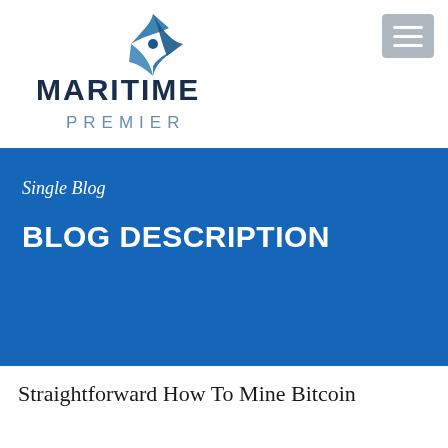[Figure (logo): Maritime Premier logo — stylized nautical star/compass icon in dark blue above the text MARITIME PREMIER in dark navy and steel blue]
[Figure (other): Hamburger menu button — grey rounded rectangle with three white horizontal lines]
Single Blog
BLOG DESCRIPTION
Straightforward How To Mine Bitcoin